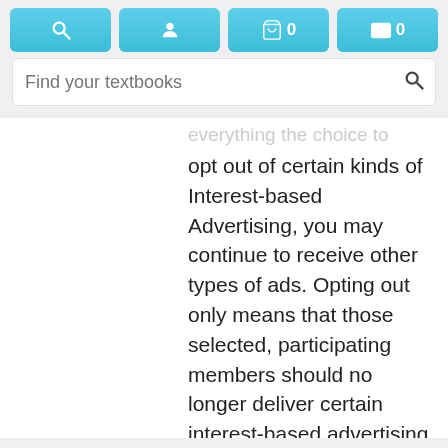[Figure (screenshot): Navigation bar with search, user, cart (0), and wallet (0) blue buttons]
[Figure (screenshot): Search bar with placeholder text 'Find your textbooks' and search icon]
opt out of certain kinds of Interest-based Advertising, you may continue to receive other types of ads. Opting out only means that those selected, participating members should no longer deliver certain interest-based advertising to you but does not mean you will no longer receive any targeted content and/or ads (e.g., from other ad networks). Also, if your browsers are configured